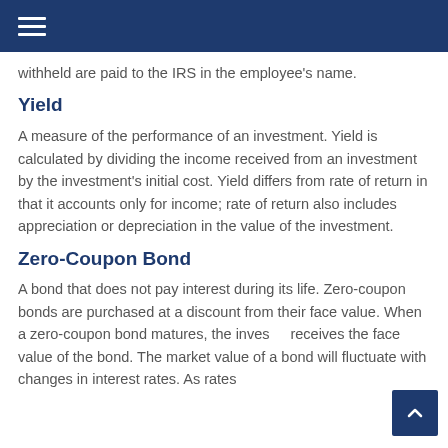withheld are paid to the IRS in the employee's name.
Yield
A measure of the performance of an investment. Yield is calculated by dividing the income received from an investment by the investment's initial cost. Yield differs from rate of return in that it accounts only for income; rate of return also includes appreciation or depreciation in the value of the investment.
Zero-Coupon Bond
A bond that does not pay interest during its life. Zero-coupon bonds are purchased at a discount from their face value. When a zero-coupon bond matures, the investor receives the face value of the bond. The market value of a bond will fluctuate with changes in interest rates. As rates